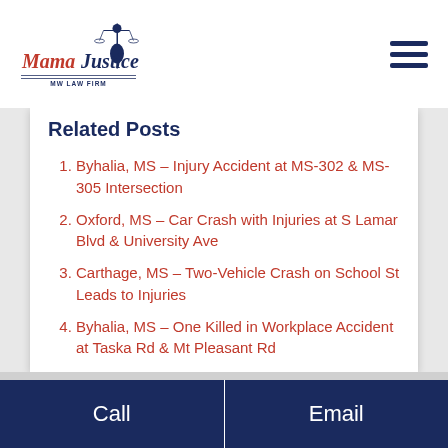[Figure (logo): Mama Justice MW Law Firm logo with lady justice figure]
Related Posts
Byhalia, MS – Injury Accident at MS-302 & MS-305 Intersection
Oxford, MS – Car Crash with Injuries at S Lamar Blvd & University Ave
Carthage, MS – Two-Vehicle Crash on School St Leads to Injuries
Byhalia, MS – One Killed in Workplace Accident at Taska Rd & Mt Pleasant Rd
Call | Email